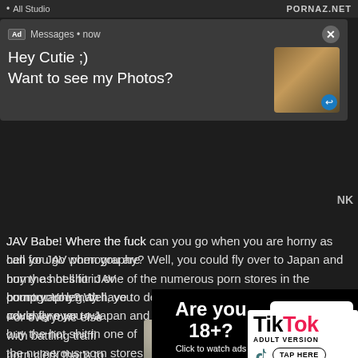All Studio   PORNAZ.NET
[Figure (screenshot): Ad notification popup with 'Ad Messages • now', text 'Hey Cutie ;) Want to see my Photos?' and a thumbnail image with close button]
JAV Babe! Where the fuck can you go when you are horny as hell for JAV pornography? Well, you could fly over to Japan and buy the hot shit in one of the numerous porn stores in the country. You may have to deal with a horny fuck behind the counter trying to dry hump your leg, th... adventure you wa...
[Figure (infographic): Are you 18+? Click to watch ads / YES button overlay]
For everyone else with battling traffic porn clerk that's to JAVBabe and tak...
[Figure (infographic): TikTok Adult Version - TAP HERE advertisement overlay]
[Figure (photo): Partial photo of a person with blonde/white hair]